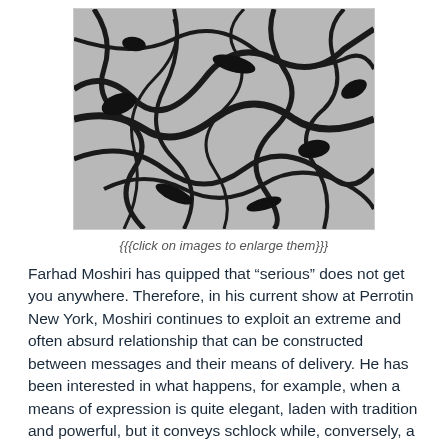[Figure (illustration): Abstract black and white pattern resembling tangled branches or cracks on a grey background]
{{{click on images to enlarge them}}}
Farhad Moshiri has quipped that “serious” does not get you anywhere. Therefore, in his current show at Perrotin New York, Moshiri continues to exploit an extreme and often absurd relationship that can be constructed between messages and their means of delivery. He has been interested in what happens, for example, when a means of expression is quite elegant, laden with tradition and powerful, but it conveys schlock while, conversely, a message is powerful and deeply meaningful, but it is conveyed through kitsch. Imagine the Chicago Symphony Orchestra doing Barry Manilow, or Justin Bieber doing MacBeth.